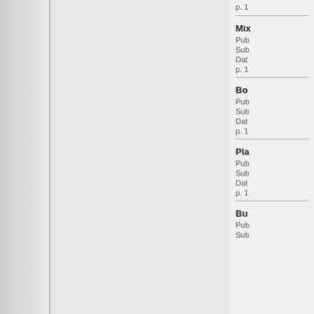p. 1
Mix
Pub
Sub
Dat
p. 1
Bo
Pub
Sub
Dat
p. 1
Pla
Pub
Sub
Dat
p. 1
Bu
Pub
Sub